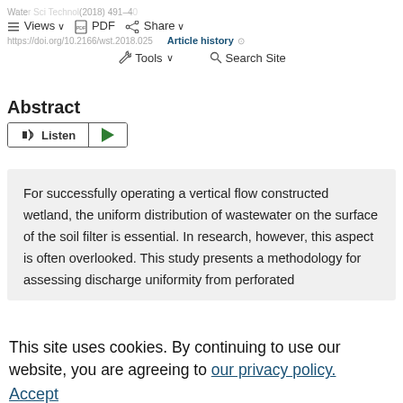Water Sci Technol (2018) / PDF / Share / Article history / https://doi.org/10.2166/wst.2018.025 / Tools / Search Site
Abstract
Listen (play button)
For successfully operating a vertical flow constructed wetland, the uniform distribution of wastewater on the surface of the soil filter is essential. In research, however, this aspect is often overlooked. This study presents a methodology for assessing discharge uniformity from perforated
pipe systems via hydraulic modeling. First, the
This site uses cookies. By continuing to use our website, you are agreeing to our privacy policy. Accept
model basics are explained. Then the whole